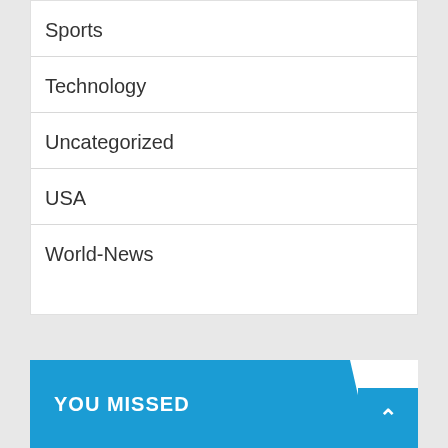Sports
Technology
Uncategorized
USA
World-News
YOU MISSED